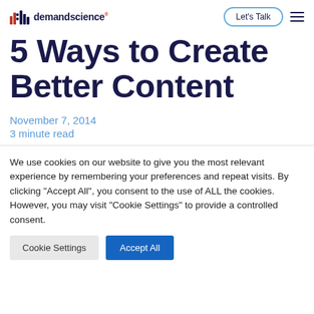demandscience | Let's Talk
5 Ways to Create Better Content
November 7, 2014
3 minute read
We use cookies on our website to give you the most relevant experience by remembering your preferences and repeat visits. By clicking "Accept All", you consent to the use of ALL the cookies. However, you may visit "Cookie Settings" to provide a controlled consent.